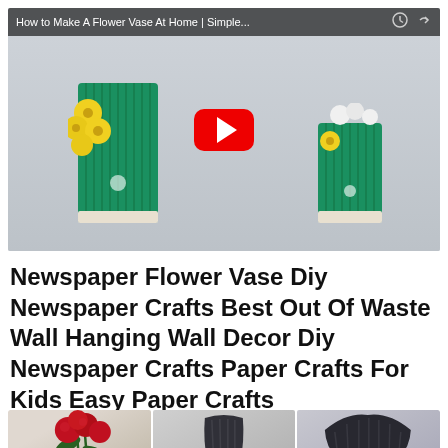[Figure (screenshot): YouTube video thumbnail showing 'How to Make A Flower Vase At Home | Simple...' with a red play button overlay, displaying two green corrugated paper vases with yellow flowers on a shelf.]
Newspaper Flower Vase Diy Newspaper Crafts Best Out Of Waste Wall Hanging Wall Decor Diy Newspaper Crafts Paper Crafts For Kids Easy Paper Crafts
[Figure (photo): A horizontal strip of three images: (1) red roses with green stems on light background, (2) a dark corrugated paper vase shape on gray background, (3) a fan-shaped dark corrugated paper piece with small dots on gray background.]